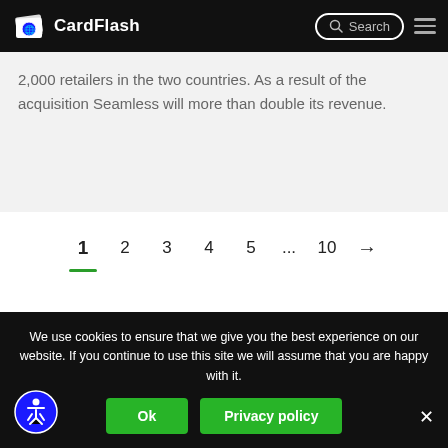CardFlash
2,000 retailers in the two countries. As a result of the acquisition Seamless will more than double its revenue.
1 2 3 4 5 ... 10 →
We use cookies to ensure that we give you the best experience on our website. If you continue to use this site we will assume that you are happy with it.